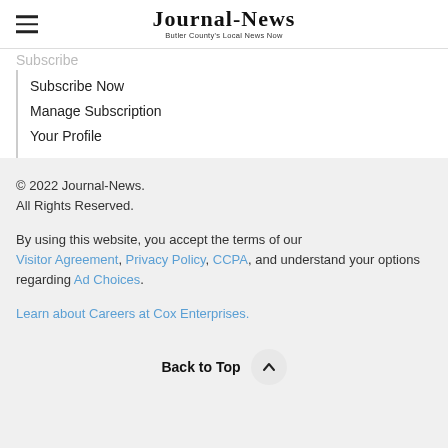Journal-News — Butler County's Local News Now
Subscribe
Subscribe Now
Manage Subscription
Your Profile
© 2022 Journal-News.
All Rights Reserved.
By using this website, you accept the terms of our Visitor Agreement, Privacy Policy, CCPA, and understand your options regarding Ad Choices.
Learn about Careers at Cox Enterprises.
Back to Top